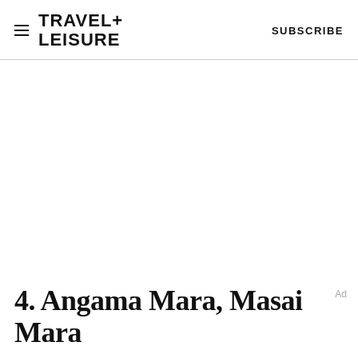TRAVEL+ LEISURE   SUBSCRIBE
[Figure (other): Large blank white space representing an image area (image not loaded/visible)]
4. Angama Mara, Masai Mara